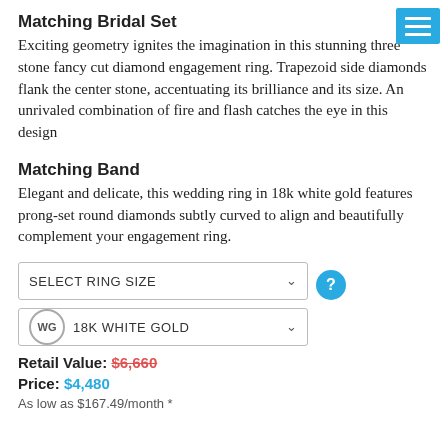Matching Bridal Set
Exciting geometry ignites the imagination in this stunning three stone fancy cut diamond engagement ring. Trapezoid side diamonds flank the center stone, accentuating its brilliance and its size. An unrivaled combination of fire and flash catches the eye in this design
Matching Band
Elegant and delicate, this wedding ring in 18k white gold features prong-set round diamonds subtly curved to align and beautifully complement your engagement ring.
SELECT RING SIZE
WG  18K WHITE GOLD
Retail Value: $6,660
Price: $4,480
As low as $167.49/month *